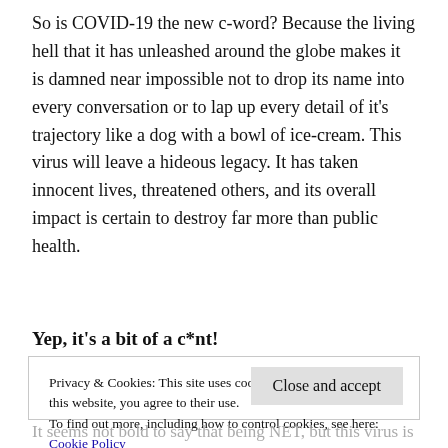So is COVID-19 the new c-word? Because the living hell that it has unleashed around the globe makes it is damned near impossible not to drop its name into every conversation or to lap up every detail of it's trajectory like a dog with a bowl of ice-cream. This virus will leave a hideous legacy. It has taken innocent lives, threatened others, and its overall impact is certain to destroy far more than public health.
Yep, it's a bit of a c*nt!
Privacy & Cookies: This site uses cookies. By continuing to use this website, you agree to their use.
To find out more, including how to control cookies, see here:
Cookie Policy